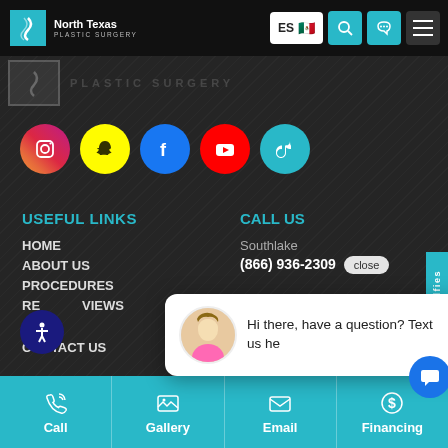North Texas Plastic Surgery — Navigation bar with ES language, search, call, and menu icons
[Figure (logo): North Texas Plastic Surgery logo (faded) with text PLASTIC SURGERY]
[Figure (infographic): Social media icons row: Instagram, Snapchat, Facebook, YouTube, TikTok]
USEFUL LINKS
HOME
ABOUT US
PROCEDURES
REVIEWS
CONTACT US
CALL US
Southlake
(866) 936-2309
close
[Figure (screenshot): Chat popup with avatar of blonde woman: Hi there, have a question? Text us he(re)]
Dallas
(866) 936-2309
Call | Gallery | Email | Financing